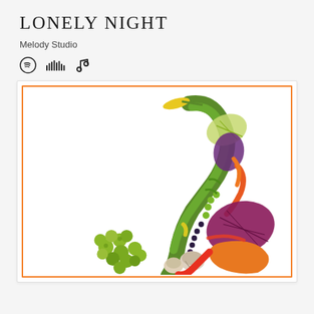LONELY NIGHT
Melody Studio
[Figure (illustration): Three music streaming platform icons: Spotify circle logo, SoundCloud waveform logo, Apple Music note icon]
[Figure (illustration): Album cover art showing a saxophone shape creatively made from various vegetables including green onions, Brussels sprouts, red cabbage, carrots, peas, eggplant, and other colorful vegetables arranged on a white background, framed with an orange border]